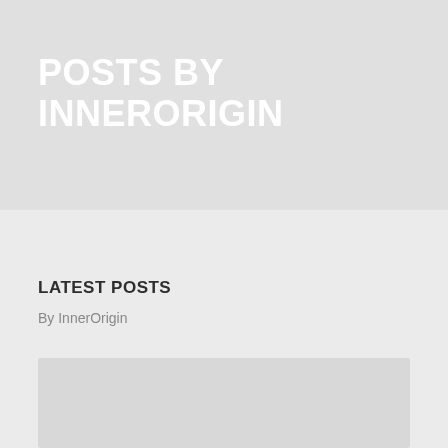POSTS BY INNERORIGIN
LATEST POSTS
By InnerOrigin
2 YEARS AGO